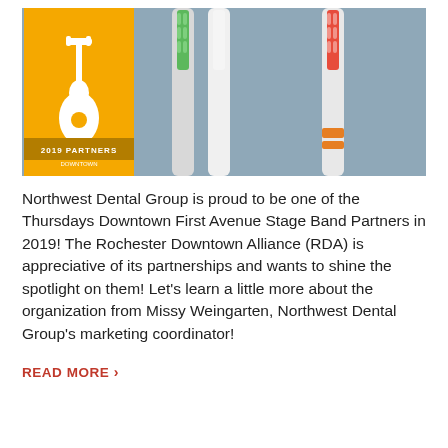[Figure (photo): Photo of three colorful toothbrushes (green, white, and red/orange) on a blurred background, with a yellow 'Thursdays Downtown 2019 Partners' badge/logo overlaid on the left side.]
Northwest Dental Group is proud to be one of the Thursdays Downtown First Avenue Stage Band Partners in 2019! The Rochester Downtown Alliance (RDA) is appreciative of its partnerships and wants to shine the spotlight on them! Let's learn a little more about the organization from Missy Weingarten, Northwest Dental Group's marketing coordinator!
READ MORE ›